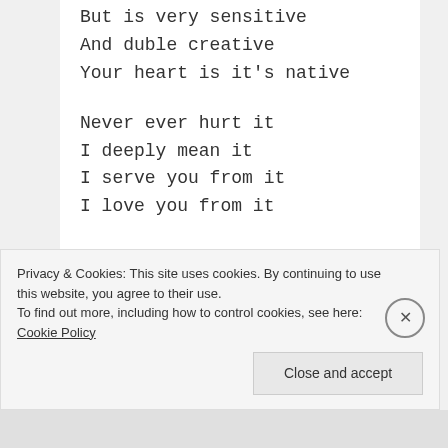But is very sensitive
And duble creative
Your heart is it's native

Never ever hurt it
I deeply mean it
I serve you from it
I love you from it

Strong meanings of deep...
Privacy & Cookies: This site uses cookies. By continuing to use this website, you agree to their use.
To find out more, including how to control cookies, see here: Cookie Policy